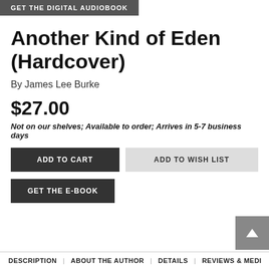GET THE DIGITAL AUDIOBOOK
Another Kind of Eden (Hardcover)
By James Lee Burke
$27.00
Not on our shelves; Available to order; Arrives in 5-7 business days
ADD TO CART | ADD TO WISH LIST
GET THE E-BOOK
DESCRIPTION | ABOUT THE AUTHOR | DETAILS | REVIEWS & MEDI…